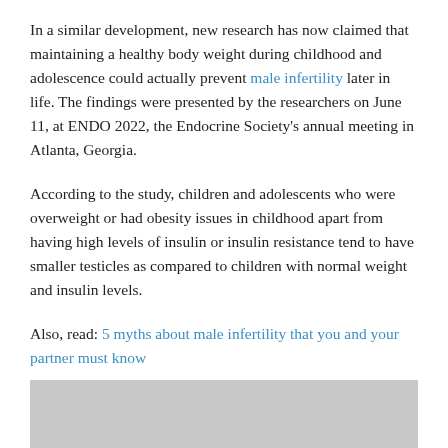In a similar development, new research has now claimed that maintaining a healthy body weight during childhood and adolescence could actually prevent male infertility later in life. The findings were presented by the researchers on June 11, at ENDO 2022, the Endocrine Society's annual meeting in Atlanta, Georgia.
According to the study, children and adolescents who were overweight or had obesity issues in childhood apart from having high levels of insulin or insulin resistance tend to have smaller testicles as compared to children with normal weight and insulin levels.
Also, read: 5 myths about male infertility that you and your partner must know
[Figure (photo): Gray image placeholder at the bottom of the page]